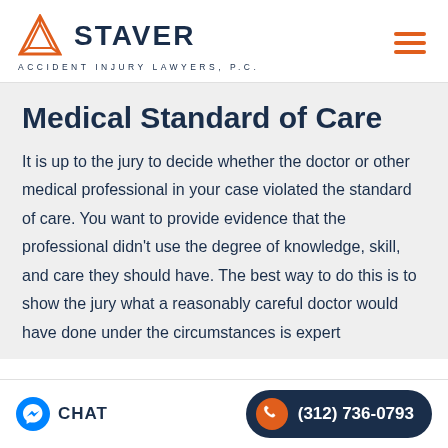[Figure (logo): Staver Accident Injury Lawyers, P.C. logo with orange triangle icon and dark navy text]
Medical Standard of Care
It is up to the jury to decide whether the doctor or other medical professional in your case violated the standard of care. You want to provide evidence that the professional didn't use the degree of knowledge, skill, and care they should have. The best way to do this is to show the jury what a reasonably careful doctor would have done under the circumstances is expert
CHAT | (312) 736-0793